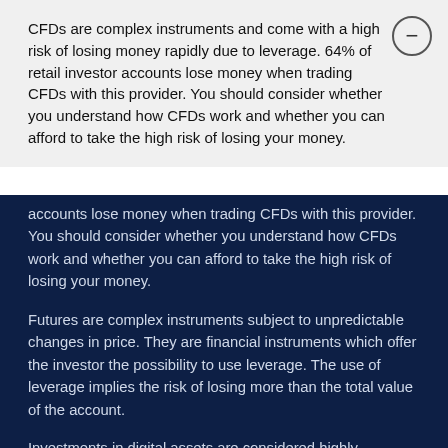CFDs are complex instruments and come with a high risk of losing money rapidly due to leverage. 64% of retail investor accounts lose money when trading CFDs with this provider. You should consider whether you understand how CFDs work and whether you can afford to take the high risk of losing your money.
accounts lose money when trading CFDs with this provider. You should consider whether you understand how CFDs work and whether you can afford to take the high risk of losing your money.
Futures are complex instruments subject to unpredictable changes in price. They are financial instruments which offer the investor the possibility to use leverage. The use of leverage implies the risk of losing more than the total value of the account.
Investments in digital assets are considered highly speculative investments and are subject to high volatility and therefore may not be suitable for all investors. Each investor should consider carefully, and possibly with external advice, whether digital assets are suitable for them. Make sure you understand any digital asset before you trade it.
Back tested and real past performance do not guarantee future